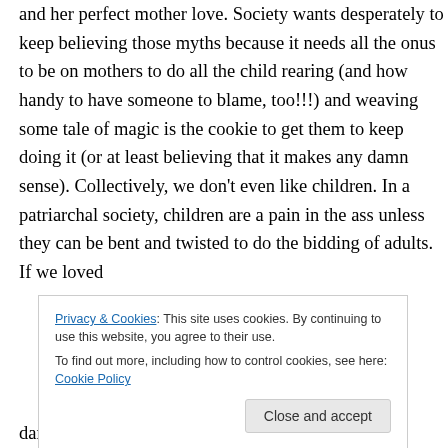and her perfect mother love. Society wants desperately to keep believing those myths because it needs all the onus to be on mothers to do all the child rearing (and how handy to have someone to blame, too!!!) and weaving some tale of magic is the cookie to get them to keep doing it (or at least believing that it makes any damn sense). Collectively, we don't even like children. In a patriarchal society, children are a pain in the ass unless they can be bent and twisted to do the bidding of adults. If we loved
Privacy & Cookies: This site uses cookies. By continuing to use this website, you agree to their use.
To find out more, including how to control cookies, see here: Cookie Policy
damage. The rest are roped into it because